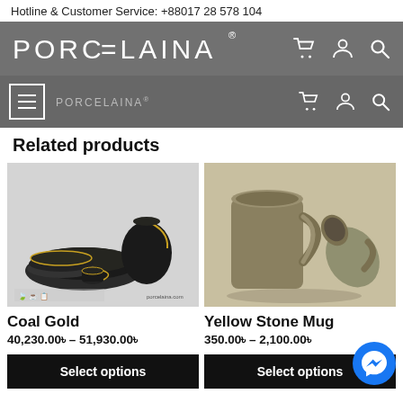Hotline & Customer Service: +88017 28 578 104
[Figure (screenshot): Porcelaina brand logo in white on dark background navigation bar with hamburger menu, cart, user, and search icons]
Related products
[Figure (photo): Coal Gold product photo showing black and gold ceramic dinnerware set]
Coal Gold
40,230.00৳ – 51,930.00৳
Select options
[Figure (photo): Yellow Stone Mug product photo showing two ceramic mugs in earthy green-grey tones]
Yellow Stone Mug
350.00৳ – 2,100.00৳
Select options